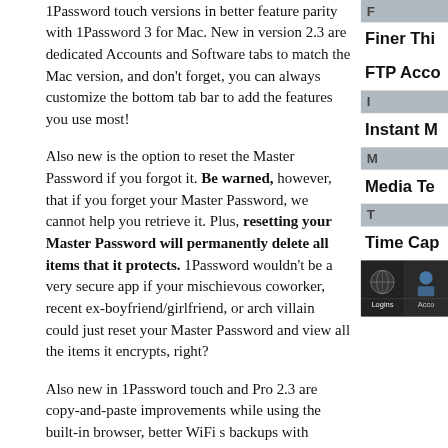1Password touch versions in better feature parity with 1Password 3 for Mac. New in version 2.3 are dedicated Accounts and Software tabs to match the Mac version, and don't forget, you can always customize the bottom tab bar to add the features you use most!
Also new is the option to reset the Master Password if you forgot it. Be warned, however, that if you forget your Master Password, we cannot help you retrieve it. Plus, resetting your Master Password will permanently delete all items that it protects. 1Password wouldn't be a very secure app if your mischievous coworker, recent ex-boyfriend/girlfriend, or arch villain could just reset your Master Password and view all the items it encrypts, right?
Also new in 1Password touch and Pro 2.3 are copy-and-paste improvements while using the built-in browser, better WiFi s backups with Firefox, and logging into Gmail.com.
Interestingly, Apple must have loved our 1Password touch and Pro 2.3 the new version the same day we submitted! No joke: we uploaded the about 2am Friday morning (yea, that's right, we work practically around
F
Finer Thi
FTP Acco
I
Instant M
M
Media Te
T
Time Cap
[Figure (screenshot): Screenshot of 1Password app showing Logins and Accounts tabs at the bottom navigation bar]